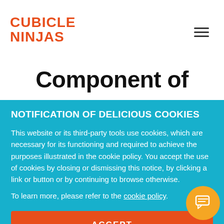[Figure (logo): Cubicle Ninjas logo in orange bold uppercase text, two lines: CUBICLE / NINJAS]
[Figure (other): Hamburger menu icon (three horizontal lines)]
Component of
NOTIFICATION OF DELICIOUS COOKIES
This website or its third-party tools use cookies, which are necessary for its functioning and required to achieve the purposes illustrated in the cookie policy. You accept the use of cookies by closing or dismissing this notice, by clicking a link or button or by continuing to browse otherwise.
To learn more, please refer to the cookie policy.
ACCEPT